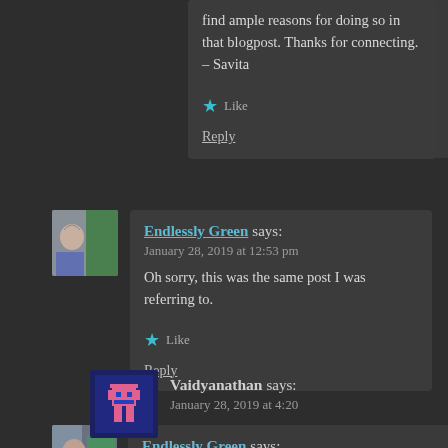find ample reasons for doing so in that blogpost. Thanks for connecting.
– Savita
Like
Reply
[Figure (photo): Avatar photo of Endlessly Green commenter, person sitting by window]
Endlessly Green says:
January 28, 2019 at 12:53 pm
Oh sorry, this was the same post I was referring to.
Like
Reply
[Figure (photo): Pixel art avatar for Vaidyanathan commenter, pink robot figure on blue background]
Vaidyanathan says:
January 28, 2019 at 4:20